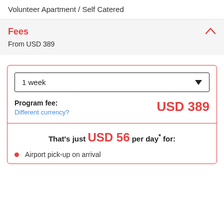Volunteer Apartment / Self Catered
Fees
From USD 389
1 week
Program fee:
Different currency?
USD 389
That's just USD 56 per day* for:
Airport pick-up on arrival